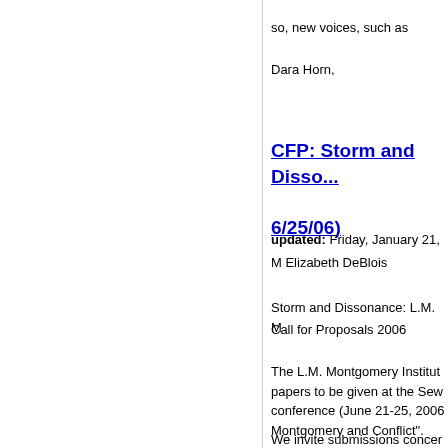so, new voices, such as
Dara Horn,
CFP: Storm and Disso... 6/25/06)
updated: Friday, January 21,
M Elizabeth DeBlois
Storm and Dissonance: L.M. M
Call for Proposals 2006
The L.M. Montgomery Institut papers to be given at the Sew conference (June 21-25, 2006 Montgomery and Conflict".
We invite submissions concer